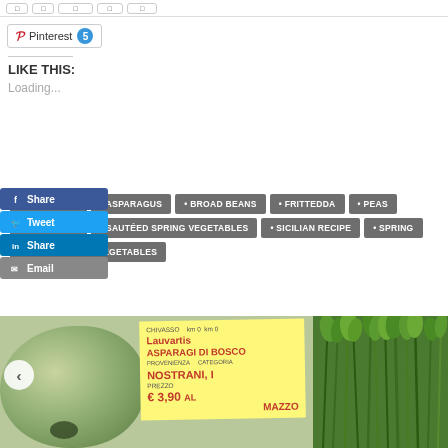[Figure (screenshot): Top navigation bar with social sharing buttons (cropped at top)]
[Figure (screenshot): Pinterest share button with count badge showing 5]
LIKE THIS:
Loading...
[Figure (screenshot): Facebook Share button, Twitter Tweet button, LinkedIn Share button, Email button on left side]
ARTICHOKES
ASPARAGUS
BROAD BEANS
FRITTEDDA
PEAS
PRIMAVERA
SAUTÉED SPRING VEGETABLES
SICILIAN RECIPE
SPRING
YOUNG SPRING VEGETABLES
[Figure (photo): Market photo showing a green squash/pumpkin on the left, a handwritten yellow market sign in the center reading 'Lauvartis Asparagi di Bosco Nostrani, I Prezzo €3.90 al Mazzo', and fresh green herbs/asparagus on the right]